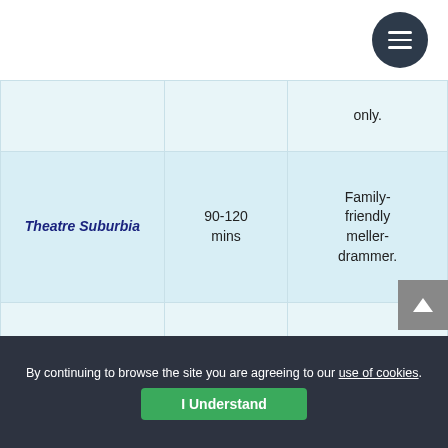[Figure (other): Circular dark menu button (hamburger icon) in top right corner]
| Venue | Duration | Description |
| --- | --- | --- |
|  |  | only. |
| Theatre Suburbia | 90-120 mins | Family-friendly meller-drammer. |
| The Road Theatre Company | 10 mins, One Act, or Full Length | New & established playwrights are encouraged to submit. |
By continuing to browse the site you are agreeing to our use of cookies.
I Understand